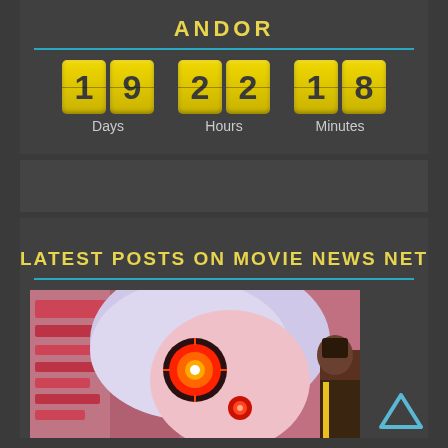ANDOR
[Figure (other): Countdown timer showing 19 days, 22 hours, 18 minutes with yellow flip-clock style digit boxes]
Days   Hours   Minutes
LATEST POSTS ON MOVIE NEWS NET
[Figure (photo): Anime-style illustration showing a close-up of a character with white/silver hair and glowing red mechanical eye, with another darker-skinned character visible in background]